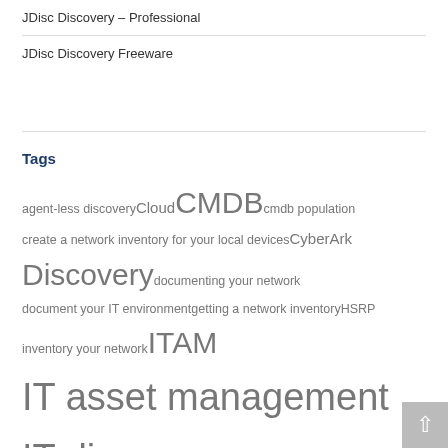JDisc Discovery – Professional
JDisc Discovery Freeware
Tags
agent-less discovery Cloud CMDB cmdb population create a network inventory for your local devices CyberArk Discovery documenting your network document your IT environment getting a network inventory HSRP inventory your network ITAM IT asset management IT discovery IT documentation ITIL IT inventory IT network documentation ITSM JDisc Discovery Local printer and scanner discovery network change history Network Cluster Discovery